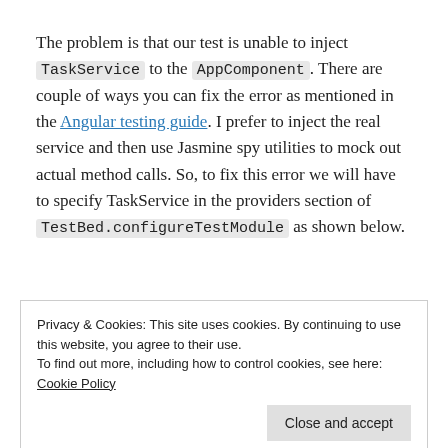The problem is that our test is unable to inject TaskService to the AppComponent. There are couple of ways you can fix the error as mentioned in the Angular testing guide. I prefer to inject the real service and then use Jasmine spy utilities to mock out actual method calls. So, to fix this error we will have to specify TaskService in the providers section of TestBed.configureTestModule as shown below.
[Figure (screenshot): Code editor box (partially visible, top border only)]
Privacy & Cookies: This site uses cookies. By continuing to use this website, you agree to their use.
To find out more, including how to control cookies, see here: Cookie Policy
Close and accept
[Figure (screenshot): Code editor box bottom with line number 1]